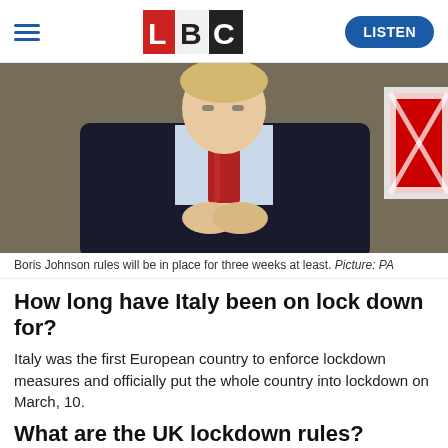LBC — LISTEN
[Figure (photo): Boris Johnson seated at a desk wearing a dark suit and red tie, with clasped hands, photographed from the chest up.]
Boris Johnson rules will be in place for three weeks at least. Picture: PA
How long have Italy been on lock down for?
Italy was the first European country to enforce lockdown measures and officially put the whole country into lockdown on March, 10.
What are the UK lockdown rules?
Under the new rules, the nation can only go out for essential